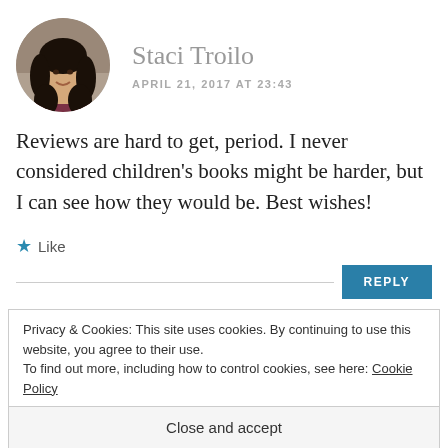[Figure (photo): Circular profile photo of Staci Troilo, a woman with dark curly hair, smiling]
Staci Troilo
APRIL 21, 2017 AT 23:43
Reviews are hard to get, period. I never considered children's books might be harder, but I can see how they would be. Best wishes!
★ Like
REPLY
Privacy & Cookies: This site uses cookies. By continuing to use this website, you agree to their use.
To find out more, including how to control cookies, see here: Cookie Policy
Close and accept
Thanks for popping in, Staci